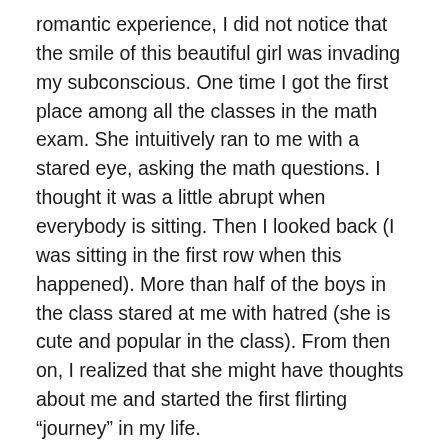romantic experience, I did not notice that the smile of this beautiful girl was invading my subconscious. One time I got the first place among all the classes in the math exam. She intuitively ran to me with a stared eye, asking the math questions. I thought it was a little abrupt when everybody is sitting. Then I looked back (I was sitting in the first row when this happened). More than half of the boys in the class stared at me with hatred (she is cute and popular in the class). From then on, I realized that she might have thoughts about me and started the first flirting “journey” in my life.
This sudden happiness gained the support of both my rational and native party. But the good times didn’t last long. Since I didn’t know what to do to proceed with the relationship (flirting with her and show her love), I always kept a distance from her and maintained the flirting for months. Many competitors arose. Finally, that girl was shaken by another boy’s skillful accosts and fall in love with